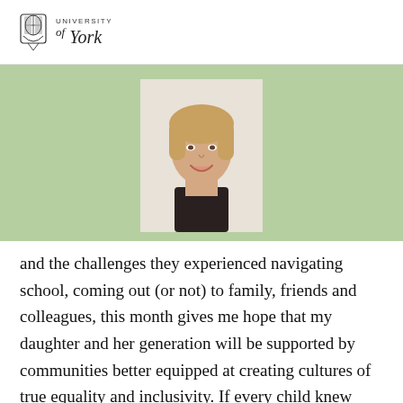University of York
[Figure (photo): Headshot of a smiling blonde woman against a light background, wearing a dark top.]
and the challenges they experienced navigating school, coming out (or not) to family, friends and colleagues, this month gives me hope that my daughter and her generation will be supported by communities better equipped at creating cultures of true equality and inclusivity. If every child knew who to speak to at home and school for advice on sexuality and/or gender for example, the stories that we hear during this month, should hopefully begin